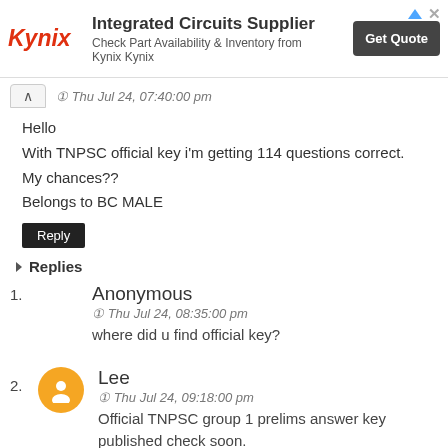[Figure (other): Kynix Integrated Circuits Supplier advertisement banner with logo, tagline, and Get Quote button]
Thu Jul 24, 07:40:00 pm
Hello
With TNPSC official key i'm getting 114 questions correct.
My chances??
Belongs to BC MALE
Reply
Replies
Anonymous
Thu Jul 24, 08:35:00 pm
where did u find official key?
Lee
Thu Jul 24, 09:18:00 pm
Official TNPSC group 1 prelims answer key published check soon.